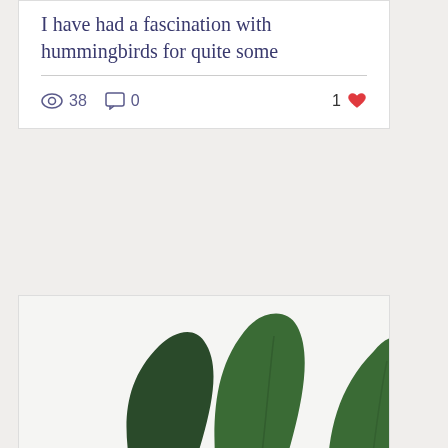I have had a fascination with hummingbirds for quite some
38  0  1
[Figure (photo): Green tropical leaves against white background]
Series 4: Personal hygiene Showering. By Kellie Cooper-Smith